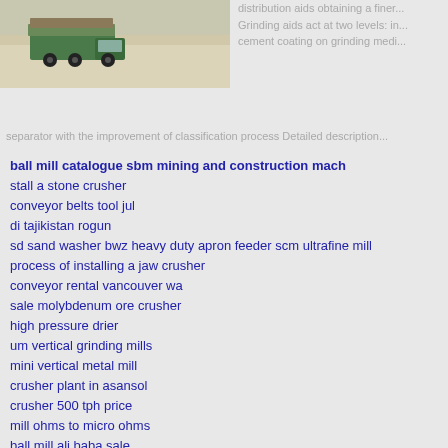[Figure (photo): A truck loaded with materials at a quarry or mining site, with white/beige terrain in background]
distribution aids obtaining a finer... Grinding aids act at two levels: in... cement coating on grinding medi...
separator with the improvement of classification process Detailed description...
ball mill catalogue sbm mining and construction mach
stall a stone crusher
conveyor belts tool jul
di tajikistan rogun
sd sand washer bwz heavy duty apron feeder scm ultrafine mill
process of installing a jaw crusher
conveyor rental vancouver wa
sale molybdenum ore crusher
high pressure drier
um vertical grinding mills
mini vertical metal mill
crusher plant in asansol
crusher 500 tph price
mill ohms to micro ohms
ball mill ali baba sale
jaw crusher running in jharkhand stone crusher machine
best grinding mill for silica powder